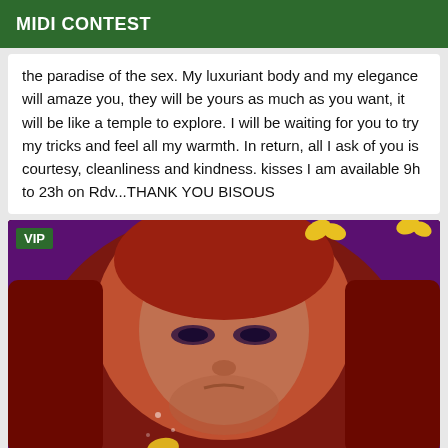MIDI CONTEST
the paradise of the sex. My luxuriant body and my elegance will amaze you, they will be yours as much as you want, it will be like a temple to explore. I will be waiting for you to try my tricks and feel all my warmth. In return, all I ask of you is courtesy, cleanliness and kindness. kisses I am available 9h to 23h on Rdv...THANK YOU BISOUS
[Figure (photo): Close-up photo of a woman with red hair and yellow butterfly accessories in her hair, against a purple background. A green VIP badge is shown in the top-left corner of the image.]